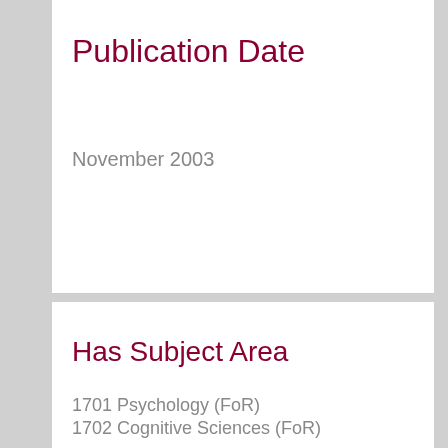Publication Date
November 2003
Has Subject Area
1701 Psychology (FoR)
1702 Cognitive Sciences (FoR)
Adult (MeSH)
Attention (MeSH)
Color Perception (MeSH)